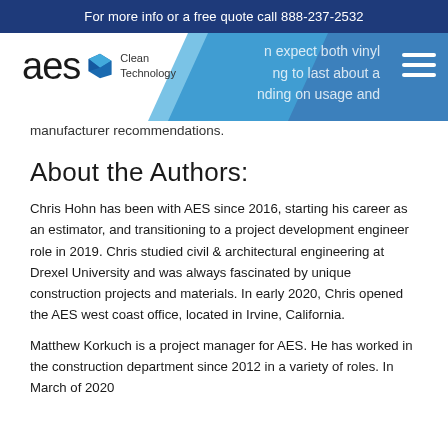For more info or a free quote call 888-237-2532
[Figure (logo): AES Clean Technology logo with blue diamond icon and text]
n expect both vinyl ng to last about a nding on usage and manufacturer recommendations.
About the Authors:
Chris Hohn has been with AES since 2016, starting his career as an estimator, and transitioning to a project development engineer role in 2019. Chris studied civil & architectural engineering at Drexel University and was always fascinated by unique construction projects and materials. In early 2020, Chris opened the AES west coast office, located in Irvine, California.
Matthew Korkuch is a project manager for AES. He has worked in the construction department since 2012 in a variety of roles. In March of 2020